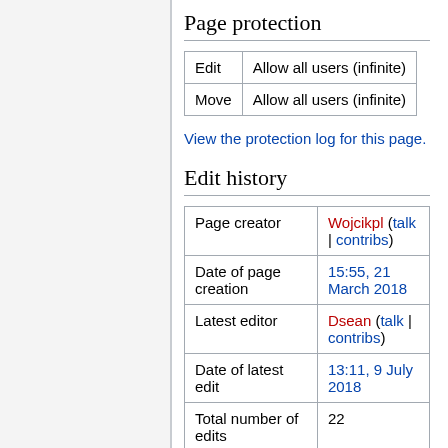Page protection
| Edit | Allow all users (infinite) |
| Move | Allow all users (infinite) |
View the protection log for this page.
Edit history
| Page creator | Wojcikpl (talk | contribs) |
| Date of page creation | 15:55, 21 March 2018 |
| Latest editor | Dsean (talk | contribs) |
| Date of latest edit | 13:11, 9 July 2018 |
| Total number of edits | 22 |